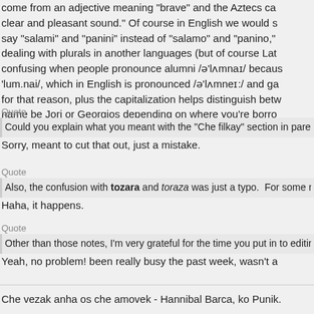come from an adjective meaning "brave" and the Aztecs ca clear and pleasant sound." Of course in English we would s say "salami" and "panini" instead of "salamo" and "panino," dealing with plurals in another languages (but of course Lat confusing when people pronounce alumni /ə'lʌmnaɪ/ becaus 'lum.nai/, which in English is pronounced /ə'lʌmneɪ:/ and ga for that reason, plus the capitalization helps distinguish betw name be Jorj or Georgios depending on where you're borro
Quote
Could you explain what you meant with the "Che filkay" section in parent
Sorry, meant to cut that out, just a mistake.
Quote
Also, the confusion with tozara and toraza was just a typo.  For some rea
Haha, it happens.
Quote
Other than those notes, I'm very grateful for the time you put in to editing
Yeah, no problem! been really busy the past week, wasn't a
Che vezak anha os che amovek - Hannibal Barca, ko Punik.